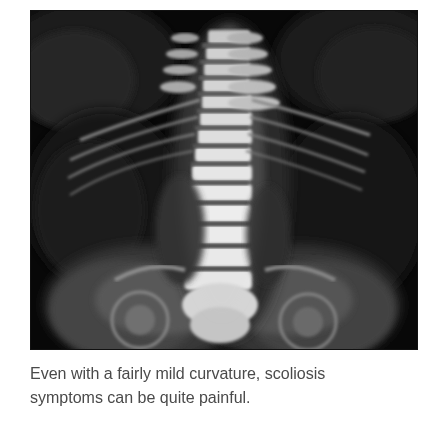[Figure (photo): Black and white X-ray image of the lumbar spine showing scoliosis — a lateral curvature of the spine. The vertebrae are visible in the center of the image with surrounding soft tissue structures visible as lighter areas against the dark background.]
Even with a fairly mild curvature, scoliosis symptoms can be quite painful.